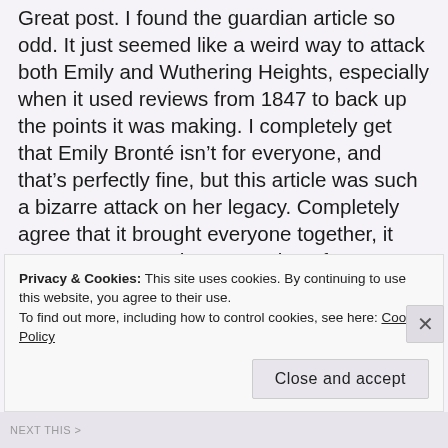Great post. I found the guardian article so odd. It just seemed like a weird way to attack both Emily and Wuthering Heights, especially when it used reviews from 1847 to back up the points it was making. I completely get that Emily Bronte isn't for everyone, and that's perfectly fine, but this article was such a bizarre attack on her legacy. Completely agree that it brought everyone together, it was great to see the outpouring of support from everyone on twitter, and the shared outrage we all had at the article.
Privacy & Cookies: This site uses cookies. By continuing to use this website, you agree to their use.
To find out more, including how to control cookies, see here: Cookie Policy
Close and accept